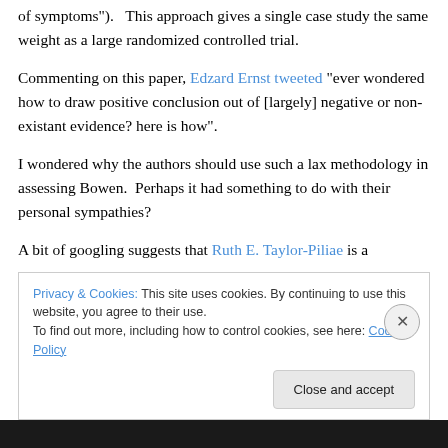of symptoms").   This approach gives a single case study the same weight as a large randomized controlled trial.
Commenting on this paper, Edzard Ernst tweeted “ever wondered how to draw positive conclusion out of [largely] negative or non-existant evidence? here is how”.
I wondered why the authors should use such a lax methodology in assessing Bowen.  Perhaps it had something to do with their personal sympathies?
A bit of googling suggests that Ruth E. Taylor-Piliae is a
Privacy & Cookies: This site uses cookies. By continuing to use this website, you agree to their use.
To find out more, including how to control cookies, see here: Cookie Policy